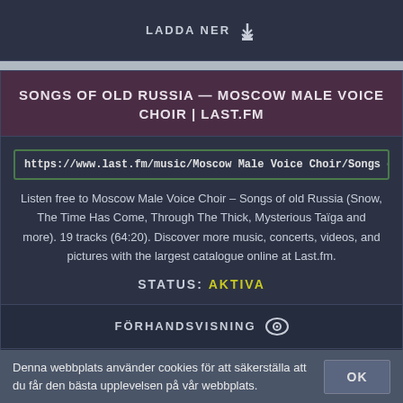LADDA NER
SONGS OF OLD RUSSIA — MOSCOW MALE VOICE CHOIR | LAST.FM
https://www.last.fm/music/Moscow Male Voice Choir/Songs of old Russi
Listen free to Moscow Male Voice Choir – Songs of old Russia (Snow, The Time Has Come, Through The Thick, Mysterious Taïga and more). 19 tracks (64:20). Discover more music, concerts, videos, and pictures with the largest catalogue online at Last.fm.
STATUS: AKTIVA
FÖRHANDSVISNING
LADDA NER
Denna webbplats använder cookies för att säkerställa att du får den bästa upplevelsen på vår webbplats.